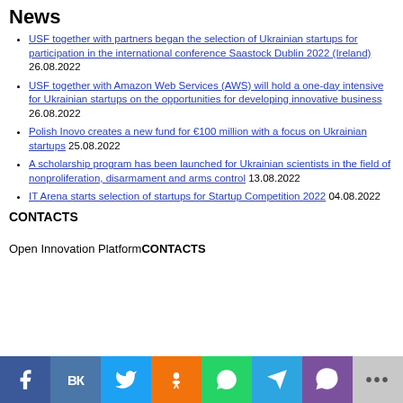News
USF together with partners began the selection of Ukrainian startups for participation in the international conference Saastock Dublin 2022 (Ireland) 26.08.2022
USF together with Amazon Web Services (AWS) will hold a one-day intensive for Ukrainian startups on the opportunities for developing innovative business 26.08.2022
Polish Inovo creates a new fund for €100 million with a focus on Ukrainian startups 25.08.2022
A scholarship program has been launched for Ukrainian scientists in the field of nonproliferation, disarmament and arms control 13.08.2022
IT Arena starts selection of startups for Startup Competition 2022 04.08.2022
CONTACTS
Open Innovation PlatformCONTACTS